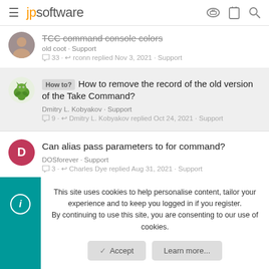jp software
TCC command console colors — old coot · Support · 33 · rconn replied Nov 3, 2021 · Support
How to? How to remove the record of the old version of the Take Command? Dmitry L. Kobyakov · Support · 9 · Dmitry L. Kobyakov replied Oct 24, 2021 · Support
Can alias pass parameters to for command? DOSforever · Support · 3 · Charles Dye replied Aug 31, 2021 · Support
This site uses cookies to help personalise content, tailor your experience and to keep you logged in if you register. By continuing to use this site, you are consenting to our use of cookies.